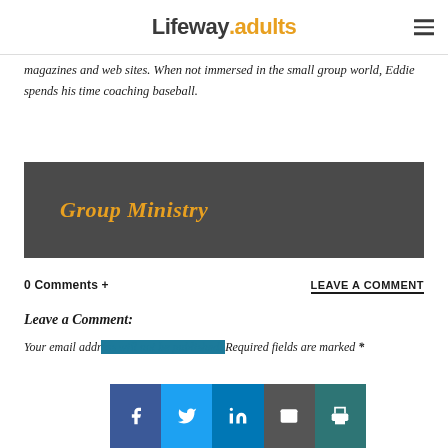Lifeway.adults
magazines and web sites. When not immersed in the small group world, Eddie spends his time coaching baseball.
[Figure (other): Dark grey banner with italic bold gold text reading 'Group Ministry']
0 Comments +
LEAVE A COMMENT
Leave a Comment:
Your email addr... Required fields are marked *